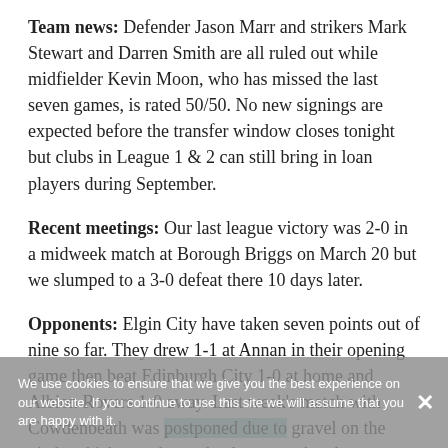Team news: Defender Jason Marr and strikers Mark Stewart and Darren Smith are all ruled out while midfielder Kevin Moon, who has missed the last seven games, is rated 50/50. No new signings are expected before the transfer window closes tonight but clubs in League 1 & 2 can still bring in loan players during September.
Recent meetings: Our last league victory was 2-0 in a midweek match at Borough Briggs on March 20 but we slumped to a 3-0 defeat there 10 days later.
Opponents: Elgin City have taken seven points out of nine so far. They drew 1-1 at Annan in their opening game then beat Edinburgh City 1-0 at home and Albion Rovers 1-0 away. Last week's match with Cowdenbeath was postponed due to gravel on the pitch, which was deemed a danger to the players.
We use cookies to ensure that we give you the best experience on our website. If you continue to use this site we will assume that you are happy with it.